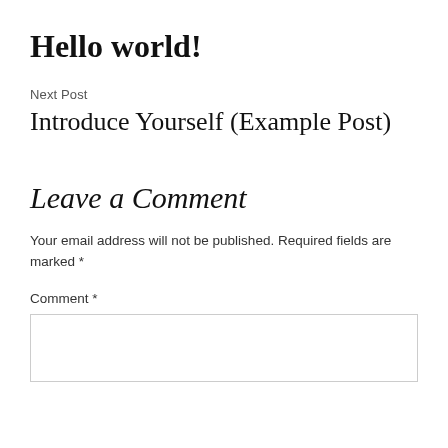Hello world!
Next Post
Introduce Yourself (Example Post)
Leave a Comment
Your email address will not be published. Required fields are marked *
Comment *